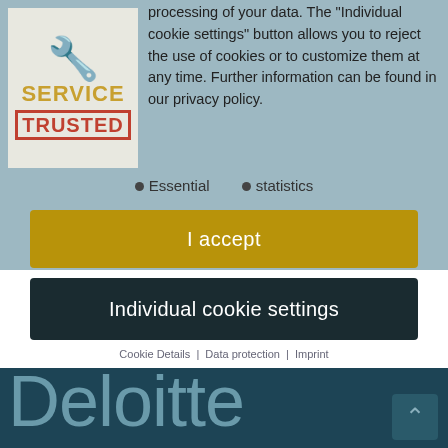[Figure (logo): Service Trusted logo with wrench/gear icon on light background]
processing of your data. The "Individual cookie settings" button allows you to reject the use of cookies or to customize them at any time. Further information can be found in our privacy policy.
Essential
statistics
I accept
Individual cookie settings
Cookie Details | Data protection | Imprint
Deloitte Study: AI Gives SMEs Competitive